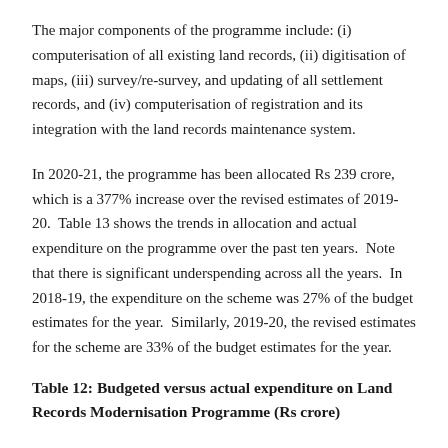The major components of the programme include: (i) computerisation of all existing land records, (ii) digitisation of maps, (iii) survey/re-survey, and updating of all settlement records, and (iv) computerisation of registration and its integration with the land records maintenance system.
In 2020-21, the programme has been allocated Rs 239 crore, which is a 377% increase over the revised estimates of 2019-20. Table 13 shows the trends in allocation and actual expenditure on the programme over the past ten years. Note that there is significant underspending across all the years. In 2018-19, the expenditure on the scheme was 27% of the budget estimates for the year. Similarly, 2019-20, the revised estimates for the scheme are 33% of the budget estimates for the year.
Table 12: Budgeted versus actual expenditure on Land Records Modernisation Programme (Rs crore)